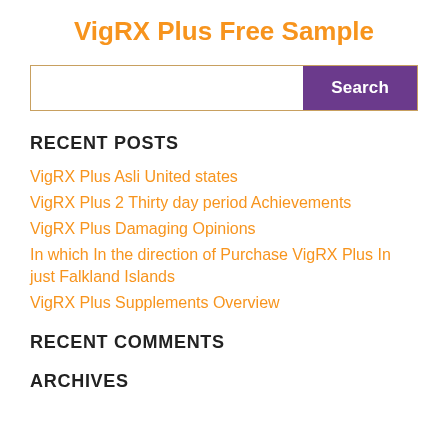VigRX Plus Free Sample
RECENT POSTS
VigRX Plus Asli United states
VigRX Plus 2 Thirty day period Achievements
VigRX Plus Damaging Opinions
In which In the direction of Purchase VigRX Plus In just Falkland Islands
VigRX Plus Supplements Overview
RECENT COMMENTS
ARCHIVES